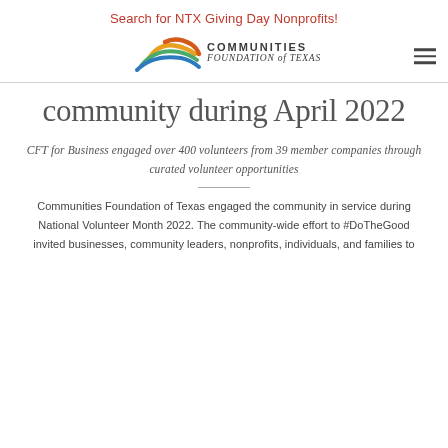Search for NTX Giving Day Nonprofits!
[Figure (logo): Communities Foundation of Texas logo with colorful wave graphic and text 'COMMUNITIES FOUNDATION of TEXAS']
community during April 2022
CFT for Business engaged over 400 volunteers from 39 member companies through curated volunteer opportunities
Communities Foundation of Texas engaged the community in service during National Volunteer Month 2022. The community-wide effort to #DoTheGood invited businesses, community leaders, nonprofits, individuals, and families to